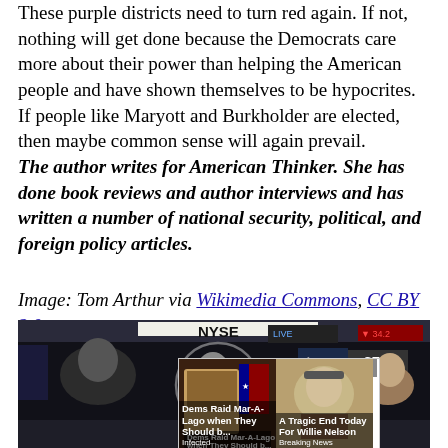These purple districts need to turn red again. If not, nothing will get done because the Democrats care more about their power than helping the American people and have shown themselves to be hypocrites. If people like Maryott and Burkholder are elected, then maybe common sense will again prevail.
The author writes for American Thinker. She has done book reviews and author interviews and has written a number of national security, political, and foreign policy articles.
Image: Tom Arthur via Wikimedia Commons, CC BY 2.0.
[Figure (photo): NYSE stock exchange floor with people, overlaid with two advertisement thumbnails: one titled 'Dems Raid Mar-A-Lago when They Should b...' from Infected, and another titled 'A Tragic End Today For Willie Nelson' from Breaking News.]